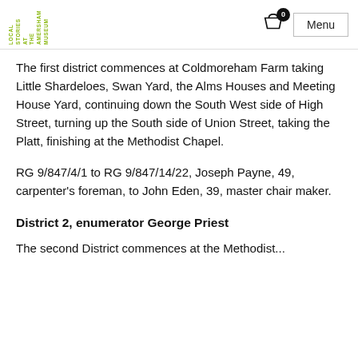LOCAL STORIES AT THE AMERSHAM MUSEUM
The first district commences at Coldmoreham Farm taking Little Shardeloes, Swan Yard, the Alms Houses and Meeting House Yard, continuing down the South West side of High Street, turning up the South side of Union Street, taking the Platt, finishing at the Methodist Chapel.
RG 9/847/4/1 to RG 9/847/14/22, Joseph Payne, 49, carpenter's foreman, to John Eden, 39, master chair maker.
District 2, enumerator George Priest
The second District commences at the Methodist...